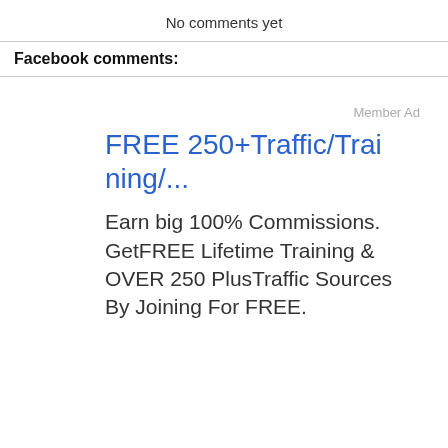No comments yet
Facebook comments:
Member Ad
FREE 250+Traffic/Training/...
Earn big 100% Commissions. GetFREE Lifetime Training & OVER 250 PlusTraffic Sources By Joining For FREE.